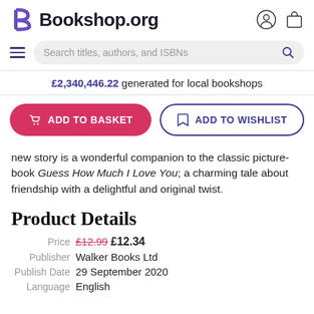Bookshop.org
£2,340,446.22 generated for local bookshops
ADD TO BASKET   ADD TO WISHLIST
new story is a wonderful companion to the classic picture-book Guess How Much I Love You; a charming tale about friendship with a delightful and original twist.
Product Details
| Label | Value |
| --- | --- |
| Price | £12.99 £12.34 |
| Publisher | Walker Books Ltd |
| Publish Date | 29 September 2020 |
| Language | English |